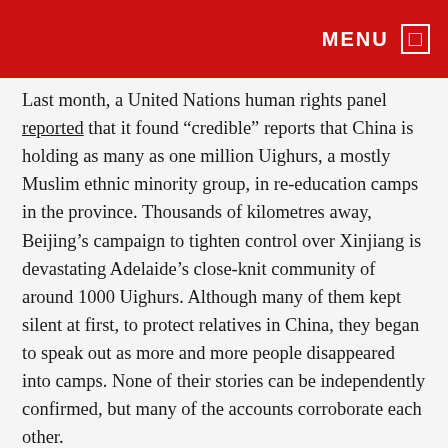MENU
Last month, a United Nations human rights panel reported that it found “credible” reports that China is holding as many as one million Uighurs, a mostly Muslim ethnic minority group, in re-education camps in the province. Thousands of kilometres away, Beijing’s campaign to tighten control over Xinjiang is devastating Adelaide’s close-knit community of around 1000 Uighurs. Although many of them kept silent at first, to protect relatives in China, they began to speak out as more and more people disappeared into camps. None of their stories can be independently confirmed, but many of the accounts corroborate each other.
Beijing flatly denies that re-education camps have been set up, though officials have admitted to the existence of “vocational” education to reintegrate petty criminals. Nonetheless, a trove of evidence — including satellite